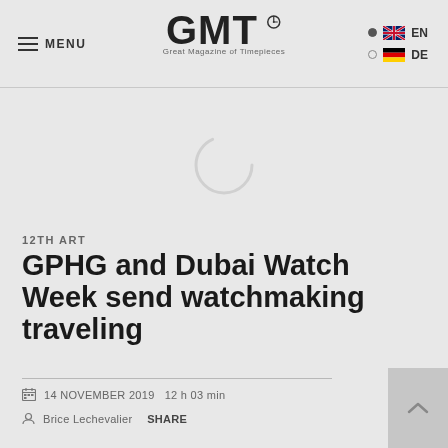≡ MENU  GMT Great Magazine of Timepieces  • EN  ◦ DE
[Figure (illustration): Loading spinner circle (partial arc) in light gray on gray background]
12TH ART
GPHG and Dubai Watch Week send watchmaking traveling
14 NOVEMBER 2019  12 h 03 min
Brice Lechevalier  SHARE